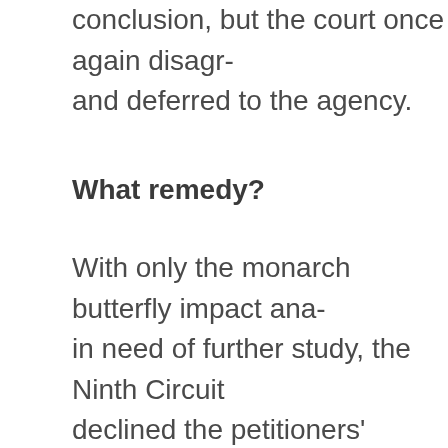conclusion, but the court once again disagreed and deferred to the agency.
What remedy?
With only the monarch butterfly impact analysis in need of further study, the Ninth Circuit declined the petitioners' request to vacate the Enlist Duo registration.   The court chose instead to remand the petition without vacating the registration, stating that the EPA's failure to consider harm to monarch butterflies was technical and not a “serious” error.  Pointing also to the “disruptive” consequences of removing a pesticide that has been in use f